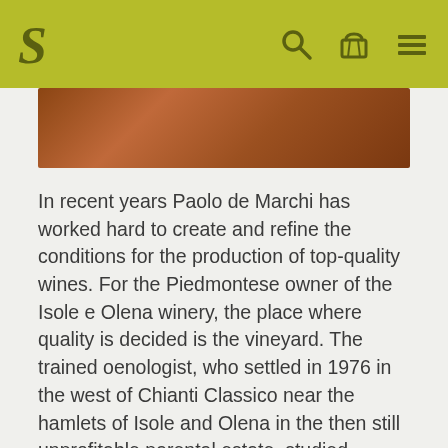S [search icon] [basket icon] [menu icon]
[Figure (photo): Close-up photo of wine bottle or barrel in brown/terracotta tones]
In recent years Paolo de Marchi has worked hard to create and refine the conditions for the production of top-quality wines. For the Piedmontese owner of the Isole e Olena winery, the place where quality is decided is the vineyard. The trained oenologist, who settled in 1976 in the west of Chianti Classico near the hamlets of Isole and Olena in the then still unprofitable parental estate, studied among other things at the Research Institute for Horticulture and Viticulture in Geisenheim and at the famous Research Institute in Montpellier. To this day, Paolo has uncompromisingly adhered to the peculiarities of Tuscan wine culture in order to prevent the plants